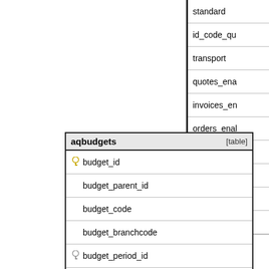[Figure (engineering-diagram): Database entity-relationship diagram showing partial views of two tables. Left table 'aqbudgets [table]' with fields: budget_id (primary key, yellow), budget_parent_id, budget_code, budget_branchcode, budget_period_id (foreign key, gray), budget_owner_id, and more rows indicated by '...'. Navigation row shows '< 1 | 0 rows | 7 >'. A relationship line connects budget_id to a partially visible right table showing fields: standard, id_code_qu, transport, quotes_ena, invoices_en, orders_enal, responses_, auto_orders, shipment_b (with gray key icon, foreign key endpoint), plugin, and '< 2' navigation indicator. The connection uses a one-to-many (crow's foot / circle) notation.]